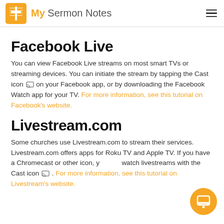My Sermon Notes
Facebook Live
You can view Facebook Live streams on most smart TVs or streaming devices. You can initiate the stream by tapping the Cast icon on your Facebook app, or by downloading the Facebook Watch app for your TV. For more information, see this tutorial on Facebook's website.
Livestream.com
Some churches use Livestream.com to stream their services. Livestream.com offers apps for Roku TV and Apple TV. If you have a Chromecast or other icon, you can watch livestreams with the Cast icon. For more information, see this tutorial on Livestream's website.